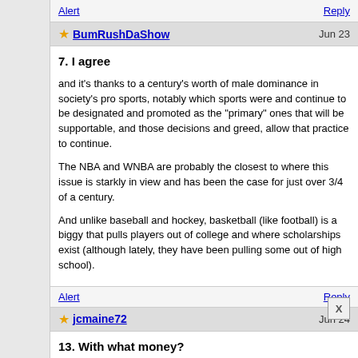Alert    Reply
BumRushDaShow    Jun 23
7. I agree
and it's thanks to a century's worth of male dominance in society's pro sports, notably which sports were and continue to be designated and promoted as the "primary" ones that will be supportable, and those decisions and greed, allow that practice to continue.
The NBA and WNBA are probably the closest to where this issue is starkly in view and has been the case for just over 3/4 of a century.
And unlike baseball and hockey, basketball (like football) is a biggy that pulls players out of college and where scholarships exist (although lately, they have been pulling some out of high school).
Alert    Reply
jcmaine72    Jun 24
13. With what money?
No more than the statistics show for each NBA player in...